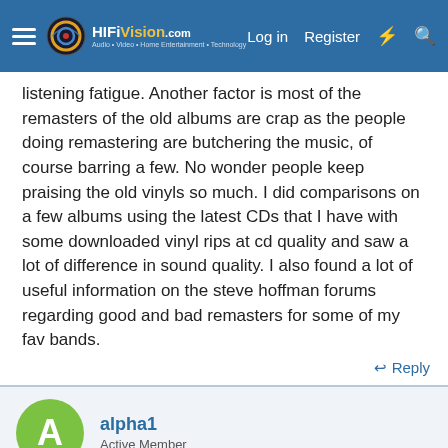HiFiVision.com | Log in | Register
listening fatigue. Another factor is most of the remasters of the old albums are crap as the people doing remastering are butchering the music, of course barring a few. No wonder people keep praising the old vinyls so much. I did comparisons on a few albums using the latest CDs that I have with some downloaded vinyl rips at cd quality and saw a lot of difference in sound quality. I also found a lot of useful information on the steve hoffman forums regarding good and bad remasters for some of my fav bands.
↩ Reply
alpha1
Active Member
This site uses cookies to help personalise content, tailor your experience and to keep you logged in if you register.
By continuing to use this site, you are consenting to our use of cookies.
✓ Accept | Learn more...